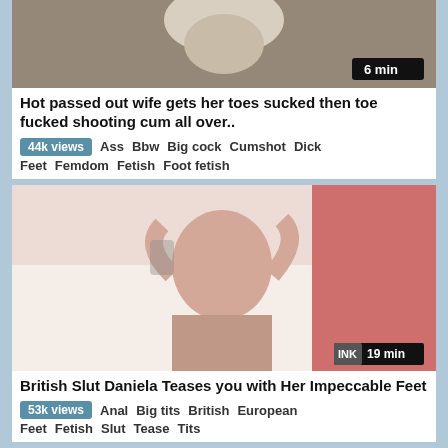[Figure (photo): Thumbnail image for first video, close-up photo with duration badge showing 6 min]
Hot passed out wife gets her toes sucked then toe fucked shooting cum all over..
44k views  Ass  Bbw  Big cock  Cumshot  Dick  Feet  Femdom  Fetish  Foot fetish
[Figure (photo): Thumbnail image for second video showing a woman on a couch, duration badge showing INK 19 min]
British Slut Daniela Teases you with Her Impeccable Feet
53k views  Anal  Big tits  British  European  Feet  Fetish  Slut  Tease  Tits
[Figure (photo): Partial thumbnail of a third video at the bottom of the page]